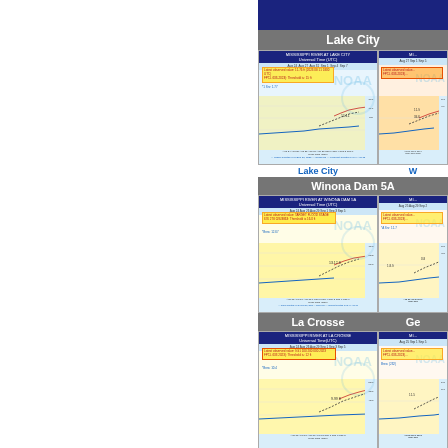[Figure (screenshot): Top blue banner/header bar]
Lake City
[Figure (screenshot): NOAA Mississippi River at Lake City hydrograph chart with flood forecast, showing river stage over time with yellow flood zone, dotted observed and red forecast lines]
W (partially visible)
[Figure (screenshot): NOAA Mississippi River hydrograph chart (right column, partially visible), orange/red flood zone]
Lake City
W
Winona Dam 5A
[Figure (screenshot): NOAA Mississippi River at Winona Dam 5A hydrograph chart with yellow flood zone and river stage forecast lines]
[Figure (screenshot): NOAA hydrograph chart (right column, partially visible)]
La Crosse
Ge (partially visible)
[Figure (screenshot): NOAA Mississippi River at La Crosse hydrograph chart with yellow/orange flood zone and river stage forecast]
[Figure (screenshot): NOAA hydrograph chart (right column, partially visible)]